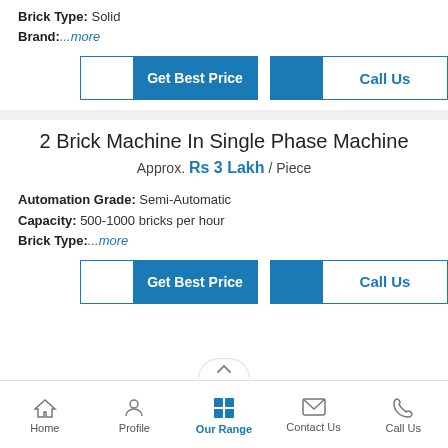Brick Type: Solid
Brand:...more
Get Best Price | Call Us (button row 1)
2 Brick Machine In Single Phase Machine
Approx. Rs 3 Lakh / Piece
Automation Grade: Semi-Automatic
Capacity: 500-1000 bricks per hour
Brick Type:...more
Get Best Price | Call Us (button row 2)
Home | Profile | Our Range | Contact Us | Call Us